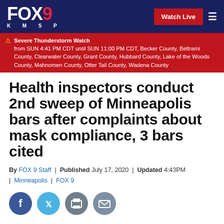FOX 9 KMSP — Watch Live
⚠ Severe Thunderstorm Watch from SUN 4:41 PM CDT until SUN 11:00 PM CDT, Becker County, Beltrami County, Clearwater County, Grant County, Hubbard County, Lake of the Woods County, Mahnomen County, Otter Tail County, Wadena County
Health inspectors conduct 2nd sweep of Minneapolis bars after complaints about mask compliance, 3 bars cited
By FOX 9 Staff | Published July 17, 2020 | Updated 4:43PM | Minneapolis | FOX 9
[Figure (other): Social sharing icons: Facebook, Twitter, Print, Email]